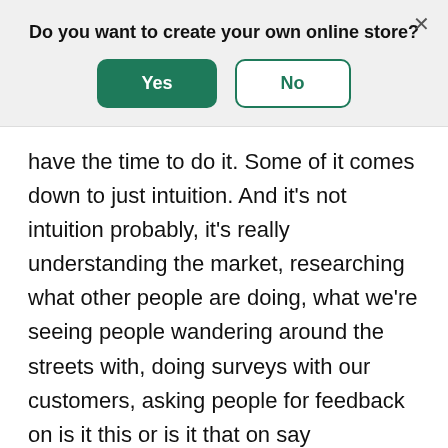Do you want to create your own online store?
[Figure (screenshot): A dialog box with Yes and No buttons. Yes button is filled dark green, No button has dark green border and white background. An X close button is in the top right.]
have the time to do it. Some of it comes down to just intuition. And it's not intuition probably, it's really understanding the market, researching what other people are doing, what we're seeing people wandering around the streets with, doing surveys with our customers, asking people for feedback on is it this or is it that on say Instagram. It usually starts though with a spark and an idea that we have. Hey, this would be really cool to work with this artist on this shirt with this color. Or,